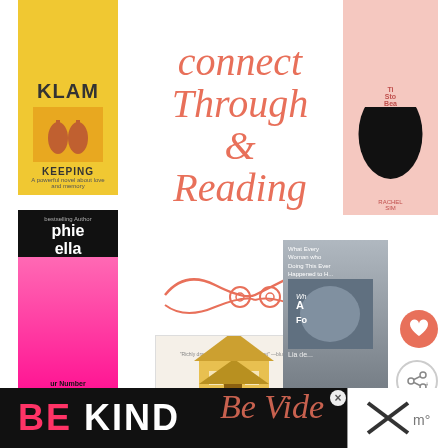[Figure (illustration): Yellow book cover with KLAM author name and KEEPING title]
Connect Through Reading
[Figure (illustration): Pink book cover with female silhouette, partial text The Story of Beautiful Girl by Rachel Simon]
[Figure (illustration): Black book cover: Sophie Kinsella, I've Got Your Number]
[Figure (illustration): Book cover: The Good House by Ann Leary, with yellow house illustration]
[Figure (illustration): Blue-gray book cover: What Alice Forgot by Liane Moriarty]
[Figure (infographic): Heart favorite button (coral circle with heart icon) and share button]
WHAT'S NEXT → A Day of Social Media...
BE KIND
[Figure (logo): Orange cursive decorative text and X logo at bottom]